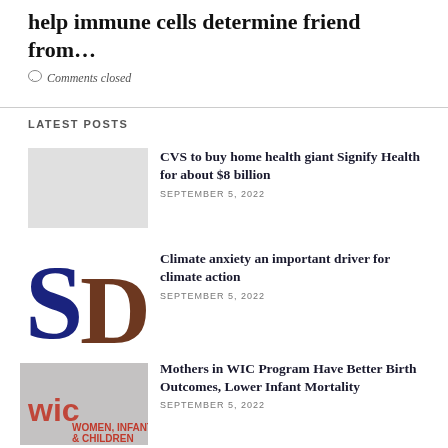help immune cells determine friend from...
Comments closed
LATEST POSTS
CVS to buy home health giant Signify Health for about $8 billion
SEPTEMBER 5, 2022
[Figure (logo): SD logo with dark blue S and brown D letters]
Climate anxiety an important driver for climate action
SEPTEMBER 5, 2022
[Figure (photo): WIC Women, Infant & Children logo over photo of hands holding baby]
Mothers in WIC Program Have Better Birth Outcomes, Lower Infant Mortality
SEPTEMBER 5, 2022